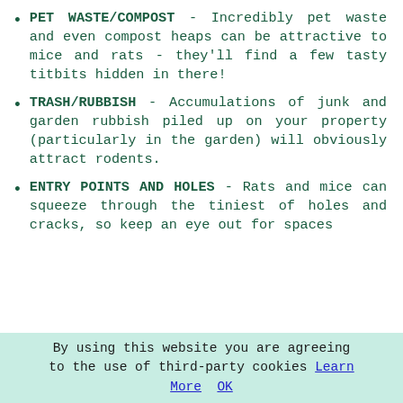PET WASTE/COMPOST - Incredibly pet waste and even compost heaps can be attractive to mice and rats - they'll find a few tasty titbits hidden in there!
TRASH/RUBBISH - Accumulations of junk and garden rubbish piled up on your property (particularly in the garden) will obviously attract rodents.
ENTRY POINTS AND HOLES - Rats and mice can squeeze through the tiniest of holes and cracks, so keep an eye out for spaces
By using this website you are agreeing to the use of third-party cookies Learn More  OK